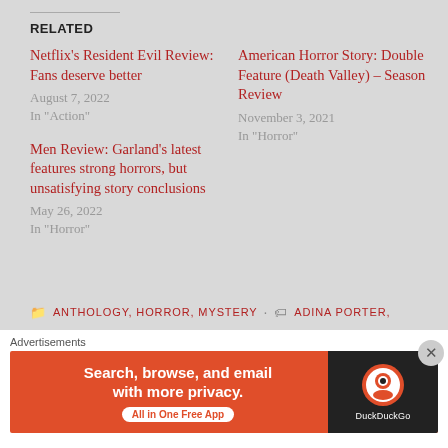RELATED
Netflix's Resident Evil Review: Fans deserve better
August 7, 2022
In "Action"
American Horror Story: Double Feature (Death Valley) – Season Review
November 3, 2021
In "Horror"
Men Review: Garland's latest features strong horrors, but unsatisfying story conclusions
May 26, 2022
In "Horror"
ANTHOLOGY, HORROR, MYSTERY · ADINA PORTER,
Advertisements
[Figure (infographic): DuckDuckGo advertisement banner: orange background with text 'Search, browse, and email with more privacy. All in One Free App' and DuckDuckGo logo on dark right panel.]